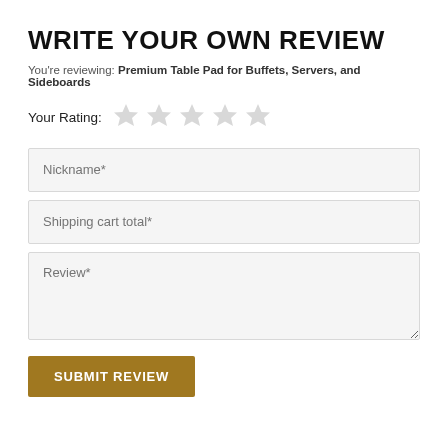WRITE YOUR OWN REVIEW
You're reviewing: Premium Table Pad for Buffets, Servers, and Sideboards
Your Rating: ☆ ☆ ☆ ☆ ☆
Nickname*
Shipping cart total*
Review*
SUBMIT REVIEW